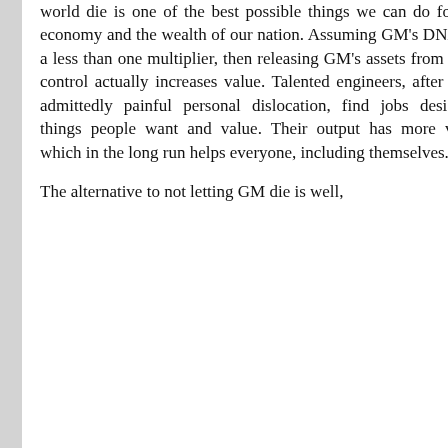world die is one of the best possible things we can do for our economy and the wealth of our nation. Assuming GM's DNA has a less than one multiplier, then releasing GM's assets from GM's control actually increases value. Talented engineers, after some admittedly painful personal dislocation, find jobs designing things people want and value. Their output has more value, which in the long run helps everyone, including themselves.

The alternative to not letting GM die is well,
January 2016
December 2015
November 2015
October 2015
September 2015
August 2015
July 2015
June 2015
May 2015
April 2015
March 2015
February 2015
January 2015
December 2014
November 2014
October 2014
September 2014
August 2014
July 2014
June 2014
May 2014
April 2014